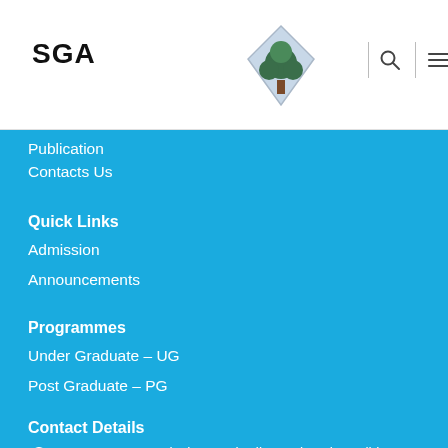SGA
Publication
Contacts Us
Quick Links
Admission
Announcements
Programmes
Under Graduate – UG
Post Graduate – PG
Contact Details
Room No. 111, Block B, Ambedkar University Delhi, Karampura Campus, Delhi – 110005.
Tel : +91-011-28160119
Fax : +91-011-28160119